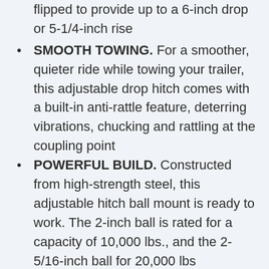flipped to provide up to a 6-inch drop or 5-1/4-inch rise
SMOOTH TOWING. For a smoother, quieter ride while towing your trailer, this adjustable drop hitch comes with a built-in anti-rattle feature, deterring vibrations, chucking and rattling at the coupling point
POWERFUL BUILD. Constructed from high-strength steel, this adjustable hitch ball mount is ready to work. The 2-inch ball is rated for a capacity of 10,000 lbs., and the 2-5/16-inch ball for 20,000 lbs
PRECISE FIT. This adjustable ball hitch comes with a standard shank to fit virtually any standard 2-1/2-inch x 2-1/2-inch trailer hitch receiver. It's perfect for heavy-duty class